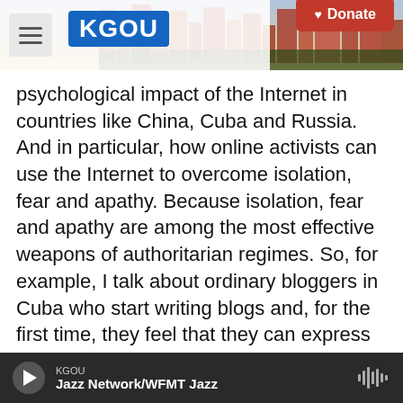KGOU [Donate]
psychological impact of the Internet in countries like China, Cuba and Russia. And in particular, how online activists can use the Internet to overcome isolation, fear and apathy. Because isolation, fear and apathy are among the most effective weapons of authoritarian regimes. So, for example, I talk about ordinary bloggers in Cuba who start writing blogs and, for the first time, they feel that they can express themselves freely.
Or, for example, I talk about the famous Russian blogger Alexei Navalny, who launched anti-corruption campaigns on the Internet and helped
KGOU — Jazz Network/WFMT Jazz